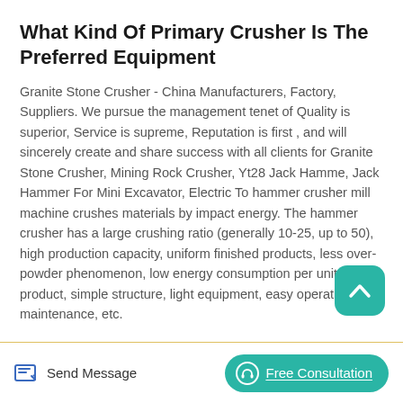What Kind Of Primary Crusher Is The Preferred Equipment
Granite Stone Crusher - China Manufacturers, Factory, Suppliers. We pursue the management tenet of Quality is superior, Service is supreme, Reputation is first , and will sincerely create and share success with all clients for Granite Stone Crusher, Mining Rock Crusher, Yt28 Jack Hamme, Jack Hammer For Mini Excavator, Electric To hammer crusher mill machine crushes materials by impact energy. The hammer crusher has a large crushing ratio (generally 10-25, up to 50), high production capacity, uniform finished products, less over-powder phenomenon, low energy consumption per unit product, simple structure, light equipment, easy operation and maintenance, etc.
Send Message | Free Consultation